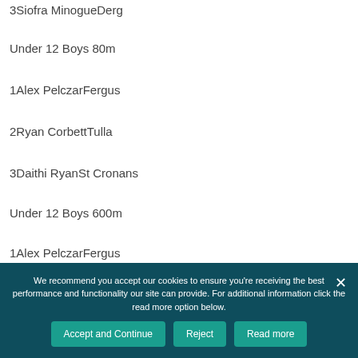3Siofra MinogueDerg
Under 12 Boys 80m
1Alex PelczarFergus
2Ryan CorbettTulla
3Daithi RyanSt Cronans
Under 12 Boys 600m
1Alex PelczarFergus
We recommend you accept our cookies to ensure you're receiving the best performance and functionality our site can provide. For additional information click the read more option below.